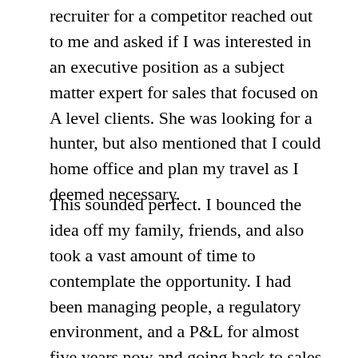recruiter for a competitor reached out to me and asked if I was interested in an executive position as a subject matter expert for sales that focused on A level clients. She was looking for a hunter, but also mentioned that I could home office and plan my travel as I deemed necessary.
This sounded perfect. I bounced the idea off my family, friends, and also took a vast amount of time to contemplate the opportunity. I had been managing people, a regulatory environment, and a P&L for almost five years now and going back to sales and development (where I first started my career) was going to be a complete 180 degree turn. But the idea of